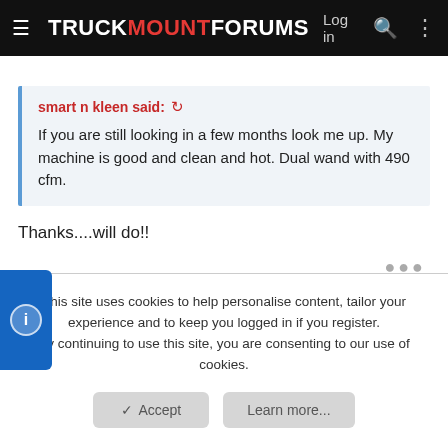TRUCKMOUNTFORUMS — Log in
smart n kleen said: ↩
If you are still looking in a few months look me up. My machine is good and clean and hot. Dual wand with 490 cfm.
Thanks....will do!!
Mojo Rising #11
This site uses cookies to help personalise content, tailor your experience and to keep you logged in if you register.
By continuing to use this site, you are consenting to our use of cookies.